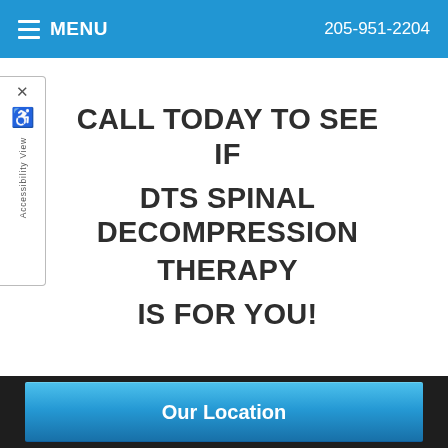MENU   205-951-2204
CALL TODAY TO SEE IF DTS SPINAL DECOMPRESSION THERAPY IS FOR YOU!
Our Location
Location